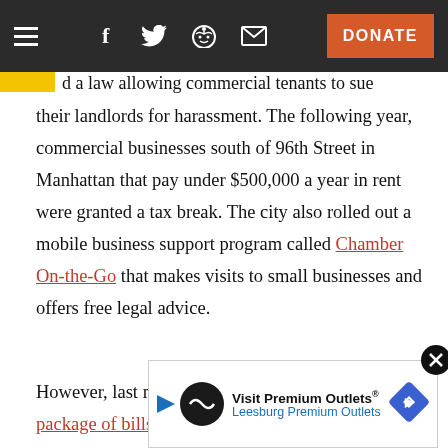Navigation bar with hamburger menu, social icons (Facebook, Twitter, Reddit, Email), and DONATE button
d a law allowing commercial tenants to sue their landlords for harassment. The following year, commercial businesses south of 96th Street in Manhattan that pay under $500,000 a year in rent were granted a tax break. The city also rolled out a mobile business support program called Chamber On-the-Go that makes visits to small businesses and offers free legal advice.
However, last month the City Council passed a package of bills that were described as the "first of its kin[d]... Of the five p[...]"
[Figure (other): Advertisement overlay for Visit Premium Outlets / Leesburg Premium Outlets with close button and directional arrow icon]